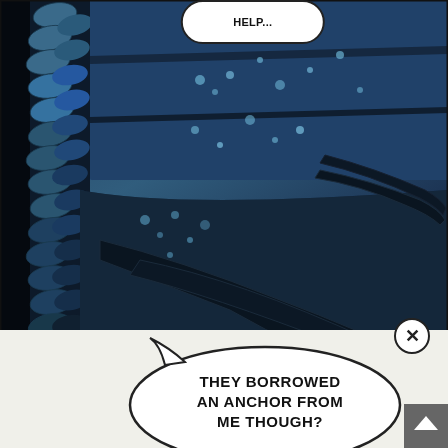[Figure (illustration): Comic book panel showing a dark underwater or sci-fi scene with scaly/armored creature or vehicle surface on the left side (blue-grey scales/spines), wet metallic dark blue surfaces with water droplets, and dark tentacle-like appendages. A speech bubble at the top is partially visible. A circular close/X button is in the lower right of the panel.]
THEY BORROWED AN ANCHOR FROM ME THOUGH?